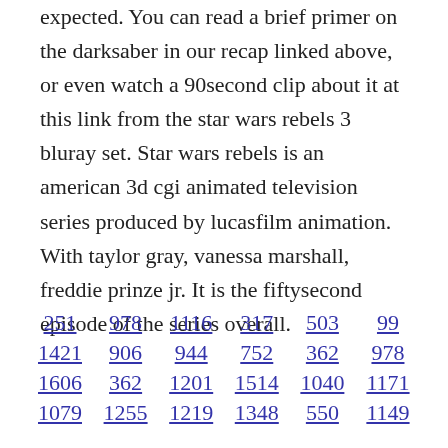expected. You can read a brief primer on the darksaber in our recap linked above, or even watch a 90second clip about it at this link from the star wars rebels 3 bluray set. Star wars rebels is an american 3d cgi animated television series produced by lucasfilm animation. With taylor gray, vanessa marshall, freddie prinze jr. It is the fiftysecond episode of the series overall.
251 978 1116 317 503 99 1421 906 944 752 362 978 1606 362 1201 1514 1040 1171 1079 1255 1219 1348 550 1149